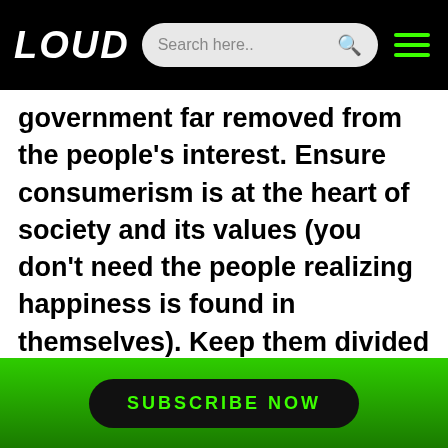LOUD | Search here..
government far removed from the people's interest. Ensure consumerism is at the heart of society and its values (you don't need the people realizing happiness is found in themselves). Keep them divided and removed from the present moment, stressed and distrustful. Pit each individual against each other to avoid the off chance of them remembering that they are both humans trying to make sense of the world and do right. Otherwise, you might have a revolution of love and understanding on your hands.
SUBSCRIBE NOW